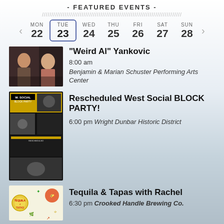- FEATURED EVENTS -
MON 22 | TUE 23 | WED 24 | THU 25 | FRI 26 | SAT 27 | SUN 28
"Weird Al" Yankovic
8:00 am
Benjamin & Marian Schuster Performing Arts Center
Rescheduled West Social BLOCK PARTY!
6:00 pm  Wright Dunbar Historic District
Tequila & Tapas with Rachel
6:30 pm  Crooked Handle Brewing Co.